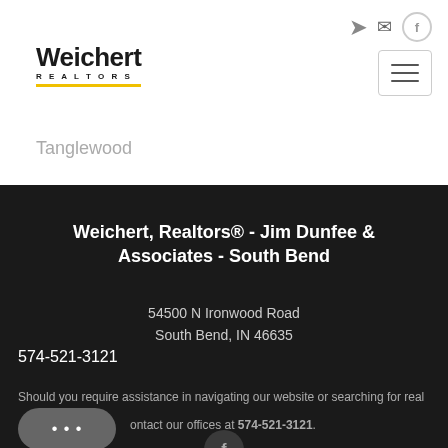[Figure (logo): Weichert Realtors logo with yellow underline bar]
Tanglewood
Weichert, Realtors® - Jim Dunfee & Associates - South Bend
54500 N Ironwood Road
South Bend, IN 46635
574-521-3121
Should you require assistance in navigating our website or searching for real estate, please contact our offices at 574-521-3121.